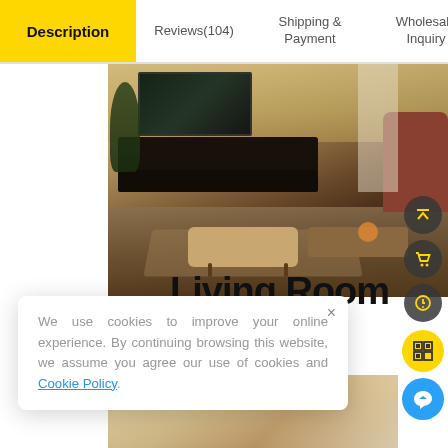Description | Reviews(104) | Shipping & Payment | Wholesale Inquiry
[Figure (photo): Interior photo of a living room with dark wood TV unit, flat screen TV, plants, armchairs, coffee table with flowers, ottoman, area rug, and curtained windows]
Living Room
We use cookies to improve your online experience. By continuing browsing this website, we assume you agree our use of cookies and Cookie Policy.
[Figure (photo): Partial view of a room ceiling with chandelier, warm toned walls]